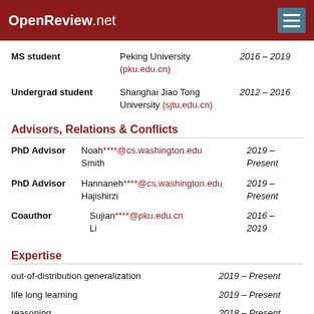OpenReview.net
| Role | Institution | Years |
| --- | --- | --- |
| MS student | Peking University (pku.edu.cn) | 2016 – 2019 |
| Undergrad student | Shanghai Jiao Tong University (sjtu.edu.cn) | 2012 – 2016 |
Advisors, Relations & Conflicts
| Role | Person | Years |
| --- | --- | --- |
| PhD Advisor | Noah ****@cs.washington.edu Smith | 2019 – Present |
| PhD Advisor | Hannaneh ****@cs.washington.edu Hajishirzi | 2019 – Present |
| Coauthor | Sujian ****@pku.edu.cn Li | 2016 – 2019 |
Expertise
| Topic | Years |
| --- | --- |
| out-of-distribution generalization | 2019 – Present |
| life long learning | 2019 – Present |
| reasoning | 2018 – Present |
| question answering | 2016 – Present |
Recent Publications